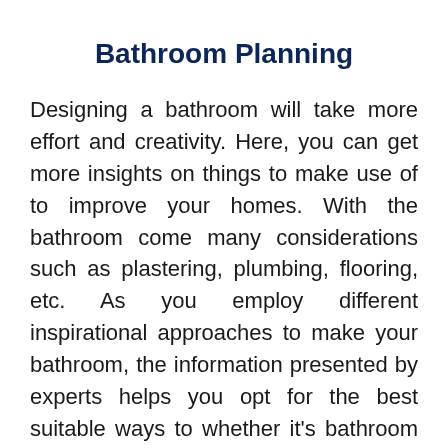Bathroom Planning
Designing a bathroom will take more effort and creativity. Here, you can get more insights on things to make use of to improve your homes. With the bathroom come many considerations such as plastering, plumbing, flooring, etc. As you employ different inspirational approaches to make your bathroom, the information presented by experts helps you opt for the best suitable ways to whether it's bathroom planning or remodelling.